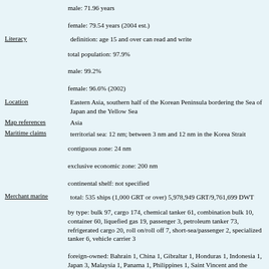male: 71.96 years
female: 79.54 years (2004 est.)
Literacy    definition: age 15 and over can read and write
total population: 97.9%
male: 99.2%
female: 96.6% (2002)
Location    Eastern Asia, southern half of the Korean Peninsula bordering the Sea of Japan and the Yellow Sea
Map references    Asia
Maritime claims    territorial sea: 12 nm; between 3 nm and 12 nm in the Korea Strait
contiguous zone: 24 nm
exclusive economic zone: 200 nm
continental shelf: not specified
Merchant marine    total: 535 ships (1,000 GRT or over) 5,978,949 GRT/9,761,699 DWT
by type: bulk 97, cargo 174, chemical tanker 61, combination bulk 10, container 60, liquefied gas 19, passenger 3, petroleum tanker 73, refrigerated cargo 20, roll on/roll off 7, short-sea/passenger 2, specialized tanker 6, vehicle carrier 3
foreign-owned: Bahrain 1, China 1, Gibraltar 1, Honduras 1, Indonesia 1, Japan 3, Malaysia 1, Panama 1, Philippines 1, Saint Vincent and the Grenadines 1, United Kingdom 1, United States 1